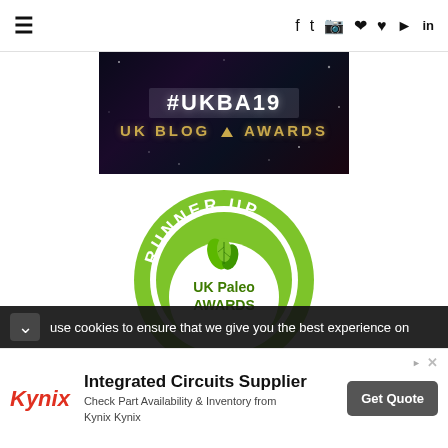≡  f  t  ⓘ  ⊕  ♥  ▶  in
[Figure (logo): UK Blog Awards #UKBA19 banner with dark galaxy background, hashtag in white and gold 'UK BLOG AWARDS' text]
[Figure (logo): Runner Up UK Paleo Awards circular green badge with leaf logo]
use cookies to ensure that we give you the best experience on
Integrated Circuits Supplier
Check Part Availability & Inventory from Kynix Kynix